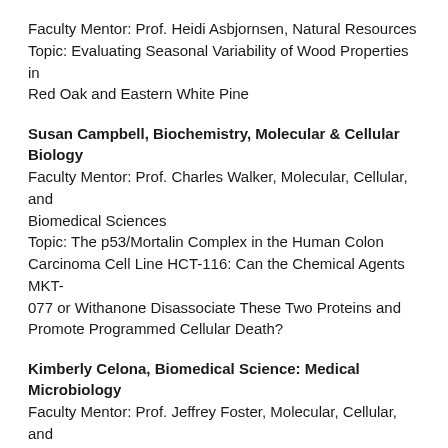Faculty Mentor: Prof. Heidi Asbjornsen, Natural Resources
Topic: Evaluating Seasonal Variability of Wood Properties in Red Oak and Eastern White Pine
Susan Campbell, Biochemistry, Molecular & Cellular Biology
Faculty Mentor: Prof. Charles Walker, Molecular, Cellular, and Biomedical Sciences
Topic: The p53/Mortalin Complex in the Human Colon Carcinoma Cell Line HCT-116: Can the Chemical Agents MKT-077 or Withanone Disassociate These Two Proteins and Promote Programmed Cellular Death?
Kimberly Celona, Biomedical Science: Medical Microbiology
Faculty Mentor: Prof. Jeffrey Foster, Molecular, Cellular, and Biomedical Sciences
Topic: Detection of White-Nose Syndrome Pathogen in Abandoned Military Bunkers
Marissa Cyr, Wildlife & Conservation Biology
Faculty Mentor: Prof. Rebecca Rowe, Natural Resources
Topic: The Effects of Variance in Small Mammal Density on Diet